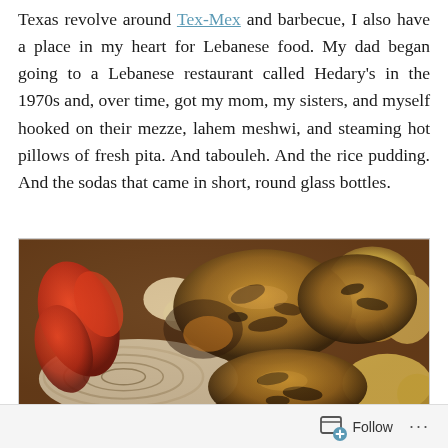Texas revolve around Tex-Mex and barbecue, I also have a place in my heart for Lebanese food. My dad began going to a Lebanese restaurant called Hedary's in the 1970s and, over time, got my mom, my sisters, and myself hooked on their mezze, lahem meshwi, and steaming hot pillows of fresh pita. And tabouleh. And the rice pudding. And the sodas that came in short, round glass bottles.
[Figure (photo): Overhead close-up photo of roasted chicken pieces with vegetables including red peppers, onions, and potatoes in a baking pan, with charred/browned surfaces.]
Follow ...